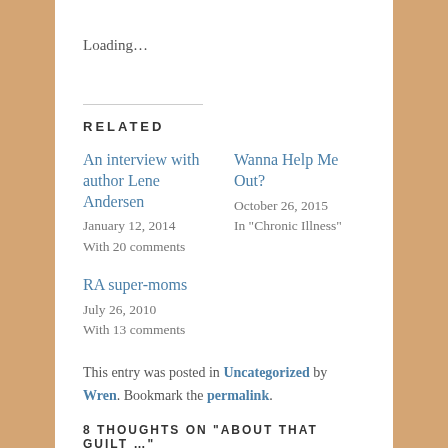Loading…
RELATED
An interview with author Lene Andersen
January 12, 2014
With 20 comments
Wanna Help Me Out?
October 26, 2015
In "Chronic Illness"
RA super-moms
July 26, 2010
With 13 comments
This entry was posted in Uncategorized by Wren. Bookmark the permalink.
8 THOUGHTS ON "ABOUT THAT GUILT …"